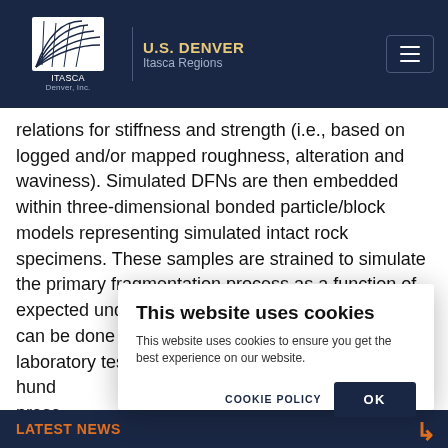ITASCA Denver, Inc. | U.S. DENVER Itasca Regions
relations for stiffness and strength (i.e., based on logged and/or mapped roughness, alteration and waviness). Simulated DFNs are then embedded within three-dimensional bonded particle/block models representing simulated intact rock specimens. These samples are strained to simulate the primary fragmentation process as a function of expected underground stresses. Such virtual tests can be done at scales much larger than actual laboratory tests—ranging from meters to hundreds... preserved... distribution... of ex...
This website uses cookies
This website uses cookies to ensure you get the best experience on our website.
COOKIE POLICY    OK
LATEST NEWS